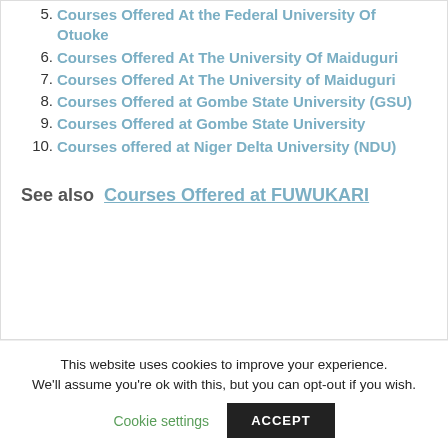5. Courses Offered At the Federal University Of Otuoke
6. Courses Offered At The University Of Maiduguri
7. Courses Offered At The University of Maiduguri
8. Courses Offered at Gombe State University (GSU)
9. Courses Offered at Gombe State University
10. Courses offered at Niger Delta University (NDU)
See also  Courses Offered at FUWUKARI
This website uses cookies to improve your experience. We'll assume you're ok with this, but you can opt-out if you wish.
Cookie settings   ACCEPT